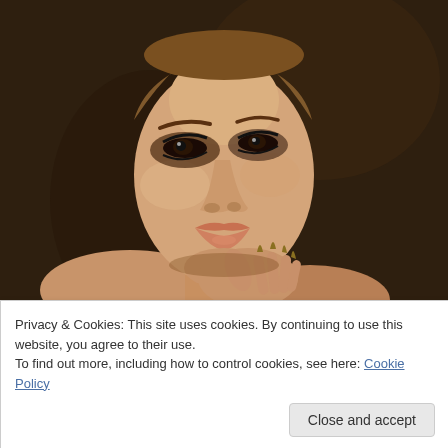[Figure (photo): Fashion/beauty portrait of a woman with dramatic eye makeup, smoky eyes, glowing skin, and long pointed nails, posed with her hand near her collarbone against a dark brown background.]
Privacy & Cookies: This site uses cookies. By continuing to use this website, you agree to their use.
To find out more, including how to control cookies, see here: Cookie Policy
Close and accept
the opera – or something equally glam. Why? Because I